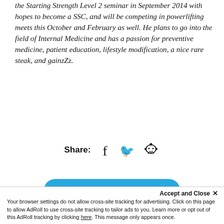the Starting Strength Level 2 seminar in September 2014 with hopes to become a SSC, and will be competing in powerlifting meets this October and February as well. He plans to go into the field of Internal Medicine and has a passion for preventive medicine, patient education, lifestyle modification, a nice rare steak, and gainzZz.
Share: [Facebook icon] [Twitter icon] [Reddit icon]
BACK TO ARTICLES
Accept and Close ✕
Your browser settings do not allow cross-site tracking for advertising. Click on this page to allow AdRoll to use cross-site tracking to tailor ads to you. Learn more or opt out of this AdRoll tracking by clicking here. This message only appears once.